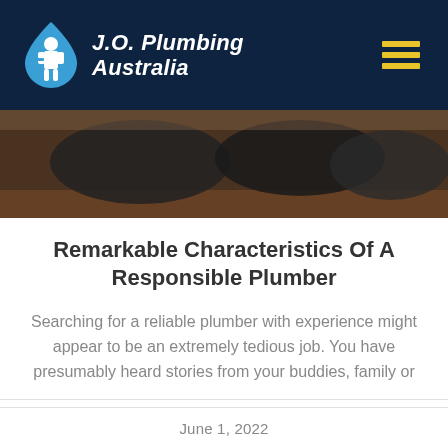J.O. Plumbing Australia
[Figure (photo): Partial view of plumbing equipment and bags in a room, dark photo]
Remarkable Characteristics Of A Responsible Plumber
Searching for a reliable plumber with experience might appear to be an extremely tedious job. You have presumably heard stories from your buddies, family or
June 1, 2022